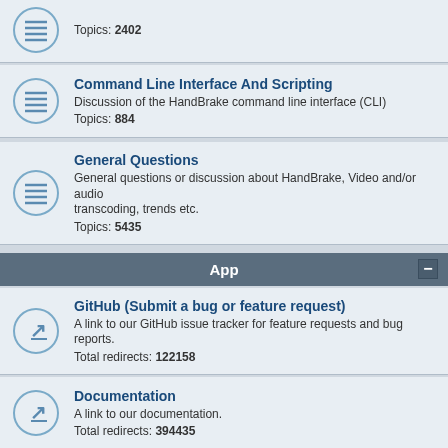Topics: 2402
Command Line Interface And Scripting
Discussion of the HandBrake command line interface (CLI)
Topics: 884
General Questions
General questions or discussion about HandBrake, Video and/or audio transcoding, trends etc.
Topics: 5435
App
GitHub (Submit a bug or feature request)
A link to our GitHub issue tracker for feature requests and bug reports.
Total redirects: 122158
Documentation
A link to our documentation.
Total redirects: 394435
Miscellaneous
Tiki Bar
Random chit-chat and anything that doesn't belong elsewhere
Topics: 555
Benchmarks
Post your testing results with HandBrake.
Topics: 198
Archive
This website uses cookies to ensure you get the best experience on our website. Get it!!